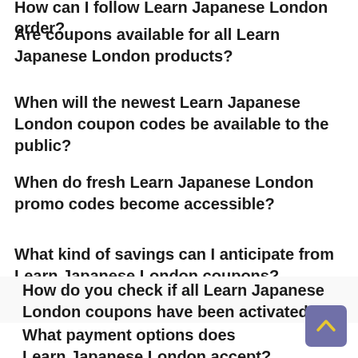How can I follow Learn Japanese London order?
Are coupons available for all Learn Japanese London products?
When will the newest Learn Japanese London coupon codes be available to the public?
When do fresh Learn Japanese London promo codes become accessible?
What kind of savings can I anticipate from Learn Japanese London coupons?
How do you check if all Learn Japanese London coupons have been activated?
What payment options does Learn Japanese London accept?